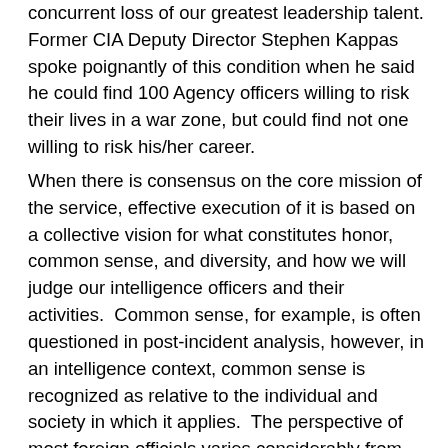concurrent loss of our greatest leadership talent.  Former CIA Deputy Director Stephen Kappas spoke poignantly of this condition when he said he could find 100 Agency officers willing to risk their lives in a war zone, but could find not one willing to risk his/her career.
When there is consensus on the core mission of the service, effective execution of it is based on a collective vision for what constitutes honor, common sense, and diversity, and how we will judge our intelligence officers and their activities.  Common sense, for example, is often questioned in post-incident analysis, however, in an intelligence context, common sense is recognized as relative to the individual and society in which it applies.  The perspective of most foreign officials varies considerably from that of an American raised in a multi-cultural society with legal principles based on Judeo-